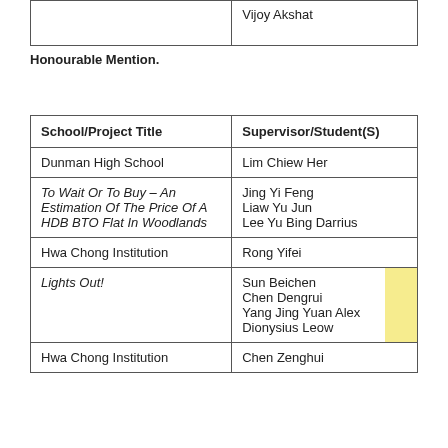|  | Vijoy Akshat |
Honourable Mention.
| School/Project Title | Supervisor/Student(S) |
| --- | --- |
| Dunman High School | Lim Chiew Her |
| To Wait Or To Buy – An Estimation Of The Price Of A HDB BTO Flat In Woodlands | Jing Yi Feng
Liaw Yu Jun
Lee Yu Bing Darrius |
| Hwa Chong Institution | Rong Yifei |
| Lights Out! | Sun Beichen
Chen Dengrui
Yang Jing Yuan Alex
Dionysius Leow |
| Hwa Chong Institution | Chen Zenghui |